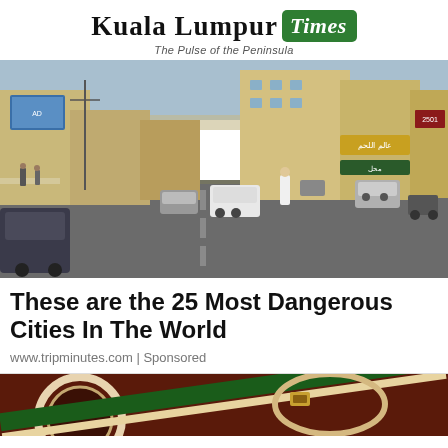Kuala Lumpur Times — The Pulse of the Peninsula
[Figure (photo): Street scene in a Middle Eastern city with cars, buildings with Arabic signage, a man in white robe, motorcycles, and a wide road.]
These are the 25 Most Dangerous Cities In The World
www.tripminutes.com | Sponsored
[Figure (photo): Partial view of what appears to be a dark red and green item, possibly a bag or accessory, cropped at the bottom of the page.]